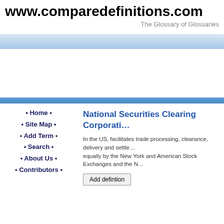www.comparedefinitions.com — The Glossary of Glossaries
Home
Site Map
Add Term
Search
About Us
Contributors
National Securities Clearing Corporation
In the US, facilitates trade processing, clearance, delivery and settlement. Owned equally by the New York and American Stock Exchanges and the N...